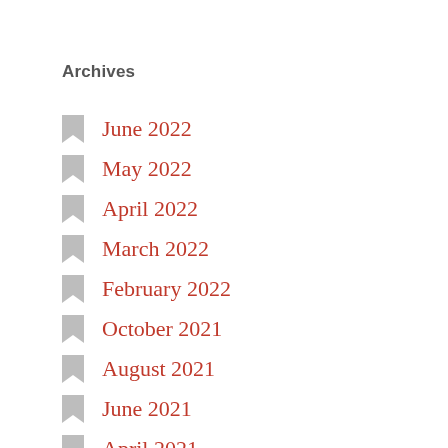Archives
June 2022
May 2022
April 2022
March 2022
February 2022
October 2021
August 2021
June 2021
April 2021
March 2021
February 2021